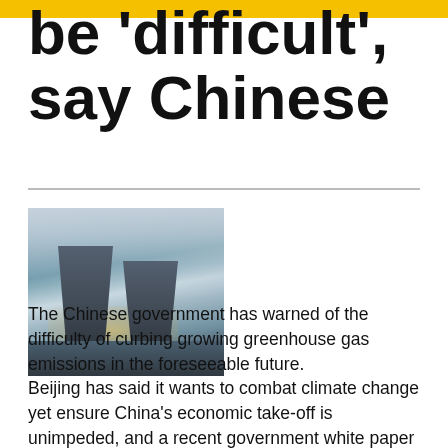be 'difficult', say Chinese
[Figure (photo): Industrial cooling towers emitting steam against a cloudy sky with a water body in the foreground]
The Chinese government has warned of the difficulty of curbing growing greenhouse gas emissions in the foreseeable future.
Beijing has said it wants to combat climate change yet ensure China's economic take-off is unimpeded, and a recent government white paper on climate